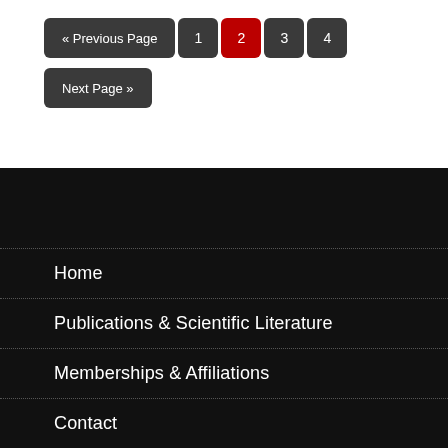« Previous Page  1  2  3  4  Next Page »
Home
Publications & Scientific Literature
Memberships & Affiliations
Contact